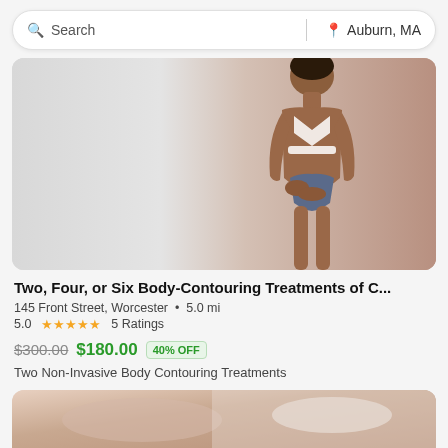[Figure (screenshot): Search bar with search icon on left, location pin and Auburn, MA on right, separated by vertical divider]
[Figure (photo): Woman in white bikini standing against white background, body contouring advertisement photo]
Two, Four, or Six Body-Contouring Treatments of C...
145 Front Street, Worcester  •  5.0 mi
5.0 ★★★★★ 5 Ratings
$300.00  $180.00  40% OFF
Two Non-Invasive Body Contouring Treatments
[Figure (photo): Partial photo of massage or body treatment, showing hands on skin with white towel, bottom of page]